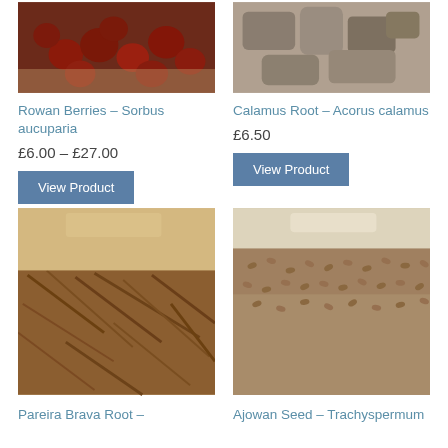[Figure (photo): Close-up photo of Rowan Berries (dark red/brown dried berries)]
Rowan Berries – Sorbus aucuparia
£6.00 – £27.00
View Product
[Figure (photo): Close-up photo of Calamus Root – grey/brown rough chunks]
Calamus Root – Acorus calamus
£6.50
View Product
[Figure (photo): Close-up photo of Pareira Brava Root – dark brown fibrous dried root material]
Pareira Brava Root –
[Figure (photo): Close-up photo of Ajowan Seed – small brown seeds in a pile]
Ajowan Seed – Trachyspermum